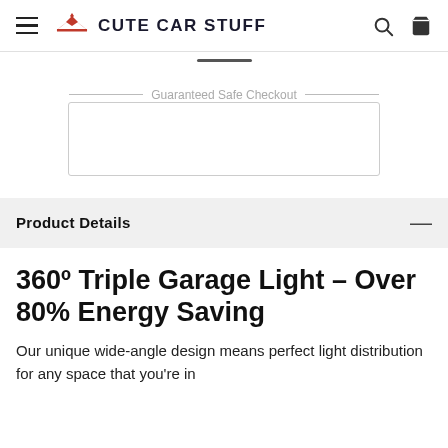CUTE CAR STUFF
[Figure (logo): Cute Car Stuff logo with red winged emblem and bold dark text]
Guaranteed Safe Checkout
Product Details
360º Triple Garage Light – Over 80% Energy Saving
Our unique wide-angle design means perfect light distribution for any space that you're in